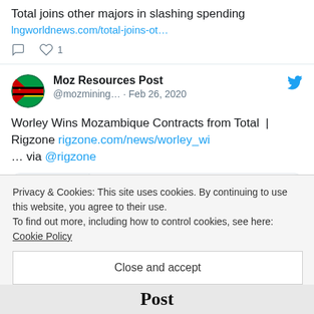Total joins other majors in slashing spending
lngworldnews.com/total-joins-ot…
[Figure (screenshot): Tweet interaction icons: comment and heart with count 1]
Moz Resources Post @mozmining… · Feb 26, 2020
Worley Wins Mozambique Contracts from Total  | Rigzone rigzone.com/news/worley_wi … via @rigzone
[Figure (screenshot): Link preview card showing rigzone.com and 'Worley Wins Mozambique' with document icon]
Privacy & Cookies: This site uses cookies. By continuing to use this website, you agree to their use.
To find out more, including how to control cookies, see here:
Cookie Policy
Close and accept
Post